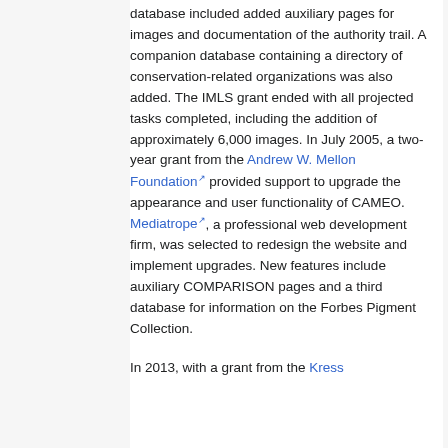database included added auxiliary pages for images and documentation of the authority trail. A companion database containing a directory of conservation-related organizations was also added. The IMLS grant ended with all projected tasks completed, including the addition of approximately 6,000 images. In July 2005, a two-year grant from the Andrew W. Mellon Foundation provided support to upgrade the appearance and user functionality of CAMEO. Mediatrope, a professional web development firm, was selected to redesign the website and implement upgrades. New features include auxiliary COMPARISON pages and a third database for information on the Forbes Pigment Collection.

In 2013, with a grant from the Kress